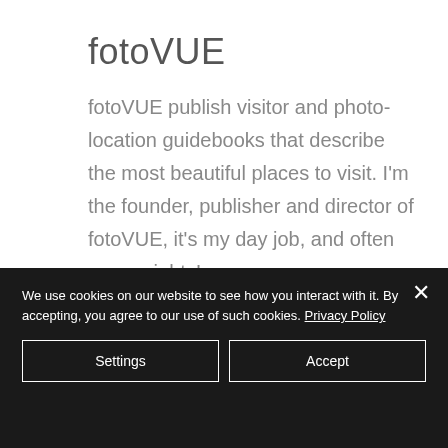fotoVUE
fotoVUE publish visitor and photo-location guidebooks that describe the most beautiful places to visit. I'm the founder, publisher and director of fotoVUE, it's my day job, and often some nights!
Shop Now
We use cookies on our website to see how you interact with it. By accepting, you agree to our use of such cookies. Privacy Policy
Settings
Accept